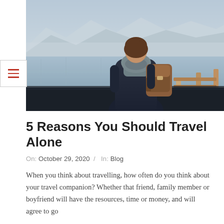[Figure (photo): A woman seen from behind, wearing a dark jacket and grey scarf with a brown leather backpack, standing at a wooden railing overlooking a mountain lake with snowy peaks and misty sky in the background.]
5 Reasons You Should Travel Alone
On:  October 29, 2020  /  In:  Blog
When you think about travelling, how often do you think about your travel companion? Whether that friend, family member or boyfriend will have the resources, time or money, and will agree to go